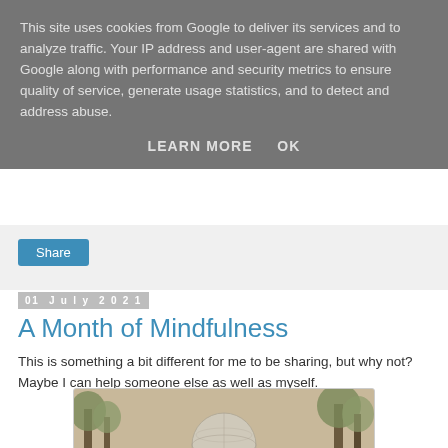This site uses cookies from Google to deliver its services and to analyze traffic. Your IP address and user-agent are shared with Google along with performance and security metrics to ensure quality of service, generate usage statistics, and to detect and address abuse.
LEARN MORE   OK
Share
01 July 2021
A Month of Mindfulness
This is something a bit different for me to be sharing, but why not? Maybe I can help someone else as well as myself.
[Figure (photo): Sepia-toned photograph of a park scene with trees and a large globe or spherical sculpture in the foreground]